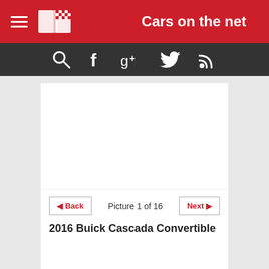Cars on the net
[Figure (screenshot): Navigation icon bar with search, Facebook, Google+, Twitter, and RSS feed icons on dark background]
[Figure (photo): Blank white image area for 2016 Buick Cascada Convertible photo]
◄ Back    Picture 1 of 16    Next ►
2016 Buick Cascada Convertible